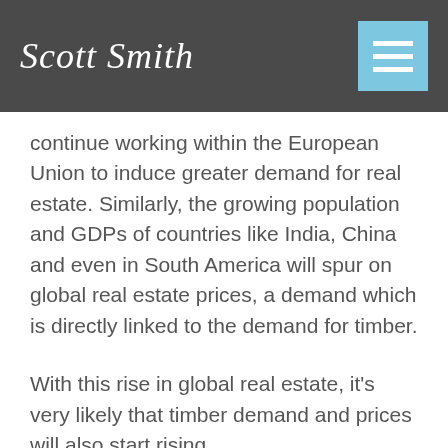Scott Smith
continue working within the European Union to induce greater demand for real estate. Similarly, the growing population and GDPs of countries like India, China and even in South America will spur on global real estate prices, a demand which is directly linked to the demand for timber.
With this rise in global real estate, it's very likely that timber demand and prices will also start rising.